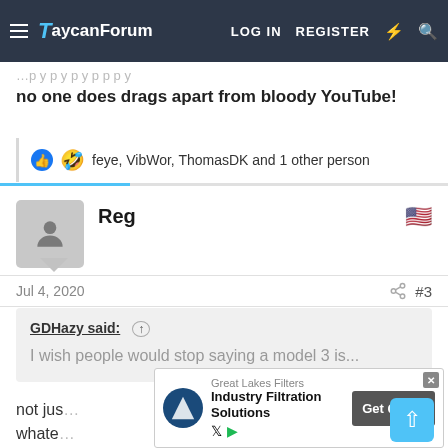TaycanForum  LOG IN  REGISTER
no one does drags apart from bloody YouTube!
feye, VibWor, ThomasDK and 1 other person
Reg
Jul 4, 2020  #3
GDHazy said:
I wish people would stop saying a model 3 is...
not jus... whate...